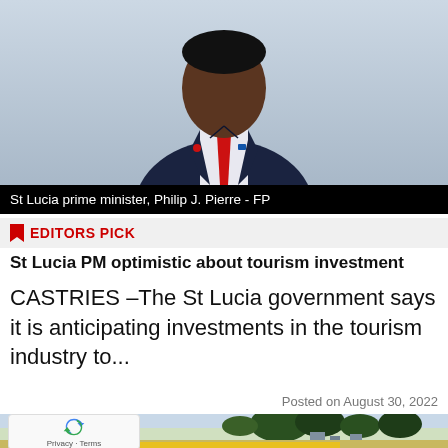[Figure (photo): Portrait of St Lucia Prime Minister Philip J. Pierre wearing a dark navy suit with a red tie, against a light background]
St Lucia prime minister, Philip J. Pierre - FP
EDITORS PICK
St Lucia PM optimistic about tourism investment
CASTRIES –The St Lucia government says it is anticipating investments in the tourism industry to...
Posted on August 30, 2022
[Figure (photo): Street scene with trees and buildings, partially obscured by reCAPTCHA widget in bottom left]